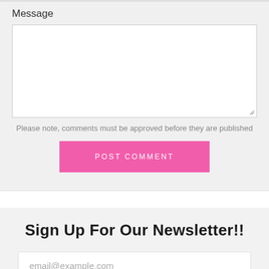Message
[Figure (screenshot): Empty textarea input box for message entry]
Please note, comments must be approved before they are published
[Figure (screenshot): Pink POST COMMENT button]
Sign Up For Our Newsletter!!
[Figure (screenshot): Email input field with placeholder text email@example.com]